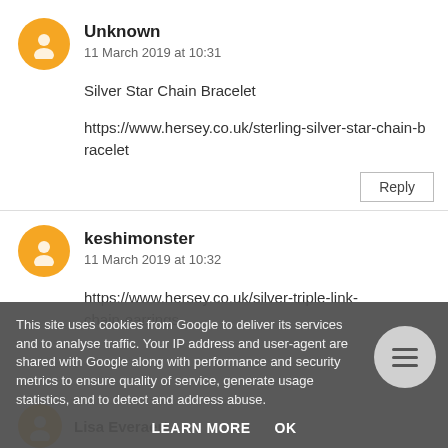Unknown
11 March 2019 at 10:31
Silver Star Chain Bracelet
https://www.hersey.co.uk/sterling-silver-star-chain-bracelet
Reply
keshimonster
11 March 2019 at 10:32
https://www.hersey.co.uk/silver-triple-link-chain-earrings
This site uses cookies from Google to deliver its services and to analyse traffic. Your IP address and user-agent are shared with Google along with performance and security metrics to ensure quality of service, generate usage statistics, and to detect and address abuse.
LEARN MORE   OK
Lisa Everaert